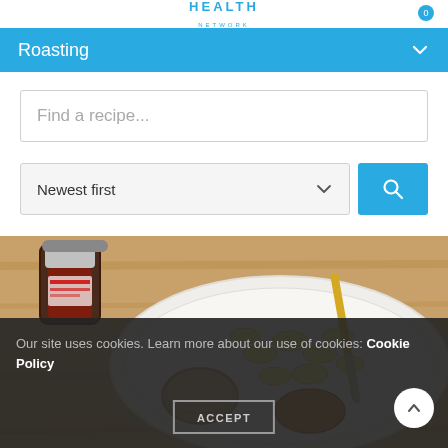HEALTH NETWORK
Roasting
Find a recipe...
Newest first
[Figure (photo): Overhead shot of a wooden table with a decorative white plate holding sliced bananas and a small bowl of peanut butter, a knife with gold handle, and a jar of jam in the background.]
Our site uses cookies. Learn more about our use of cookies: Cookie Policy
ACCEPT